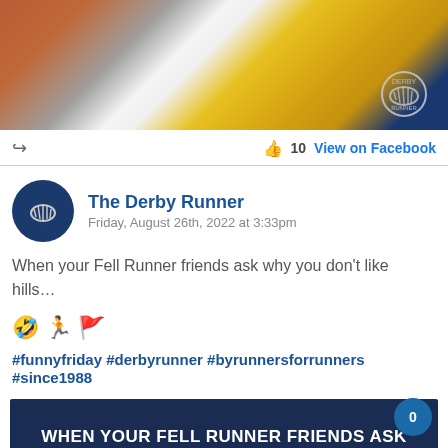[Figure (photo): Colorful clothing hanging on a rack, including orange, white, and yellow/gold garments. A running shoe logo stamp appears in the upper right corner.]
10  View on Facebook
The Derby Runner
Friday, August 26th, 2022 at 3:33pm
When your Fell Runner friends ask why you don't like hills...
🤣 🏃 🚩
#funnyfriday #derbyrunner #byrunnersforrunners #since1988
[Figure (photo): Dark navy banner image with white bold uppercase text: WHEN YOUR FELL RUNNER FRIENDS ASK WHY YOU DON'T LIKE HILLS....]